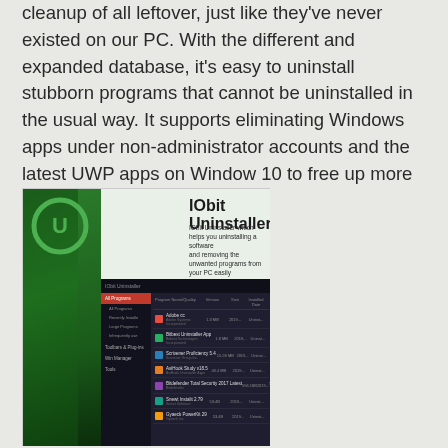cleanup of all leftover, just like they've never existed on our PC. With the different and expanded database, it's easy to uninstall stubborn programs that cannot be uninstalled in the usual way. It supports eliminating Windows apps under non-administrator accounts and the latest UWP apps on Window 10 to free up more storage space.
[Figure (screenshot): Screenshot of IObit Uninstaller software showing the application interface with a list of installed programs. The image has a dark green branded header with the IObit Uninstaller logo and title, and a dark-themed program list below.]